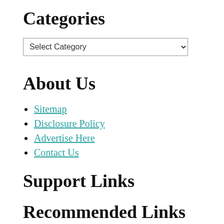Categories
Select Category
About Us
Sitemap
Disclosure Policy
Advertise Here
Contact Us
Support Links
Recommended Links
Partner Links